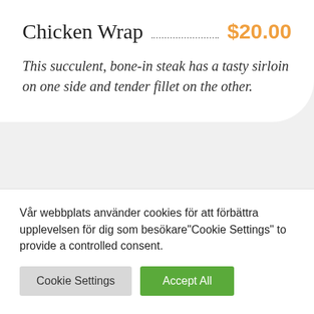Chicken Wrap $20.00
This succulent, bone-in steak has a tasty sirloin on one side and tender fillet on the other.
Vår webbplats använder cookies för att förbättra upplevelsen för dig som besökare"Cookie Settings" to provide a controlled consent.